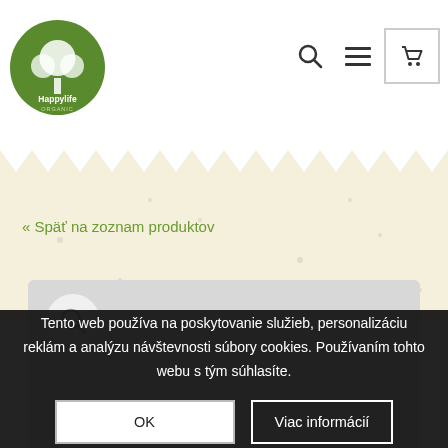[Figure (logo): Happylife Organic green circular logo with tree illustration]
« Späť na zoznam produktov
[Figure (screenshot): Product image placeholder area with search magnifier icon, gray background]
Tento web používa na poskytovanie služieb, personalizáciu reklám a analýzu návštevnosti súbory cookies. Používaním tohto webu s tým súhlasíte.
OK
Viac informácií